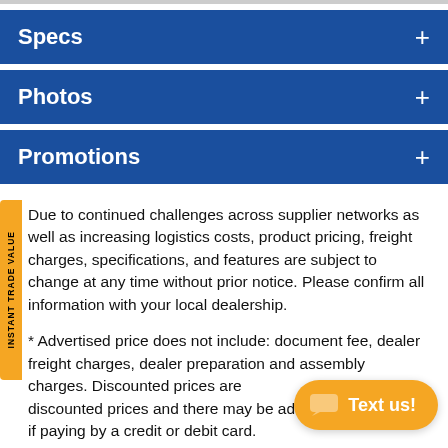Specs +
Photos +
Promotions +
Due to continued challenges across supplier networks as well as increasing logistics costs, product pricing, freight charges, specifications, and features are subject to change at any time without prior notice. Please confirm all information with your local dealership.
* Advertised price does not include: document fee, dealer freight charges, dealer preparation and assembly charges. Discounted prices are discounted prices and there may be additional charges if paying by a credit or debit card.